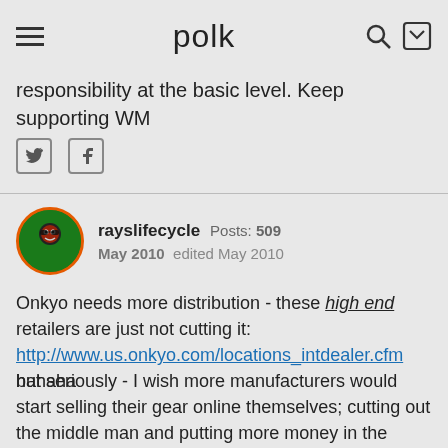polk
responsibility at the basic level. Keep supporting WM
rayslifecycle  Posts: 509  May 2010  edited May 2010
Onkyo needs more distribution - these high end retailers are just not cutting it:
http://www.us.onkyo.com/locations_intdealer.cfm
hahaha
but seriously - I wish more manufacturers would start selling their gear online themselves; cutting out the middle man and putting more money in the hands of the people that make things.